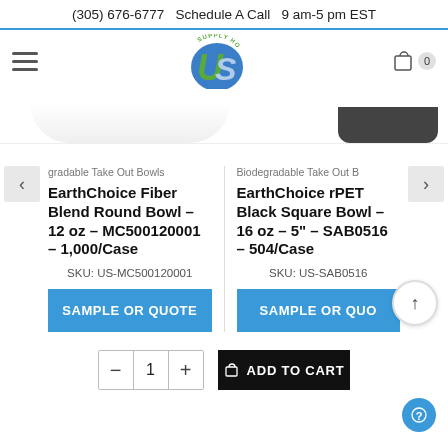(305) 676-6777  Schedule A Call  9 am-5 pm EST
[Figure (logo): US Supply House logo - circular blue and green US letters with 'SUPPLY HOUSE' text arc]
[Figure (photo): Product images: white fiber blend round bowl on left, black rPET square bowl on right, partially visible]
gradable Take Out Bowls
EarthChoice Fiber Blend Round Bowl – 12 oz – MC500120001 – 1,000/Case
SKU: US-MC500120001
SAMPLE OR QUOTE
Biodegradable Take Out B
EarthChoice rPET Black Square Bowl – 16 oz – 5" – SAB0516 – 504/Case
SKU: US-SAB0516
SAMPLE OR QUO
ADD TO CART